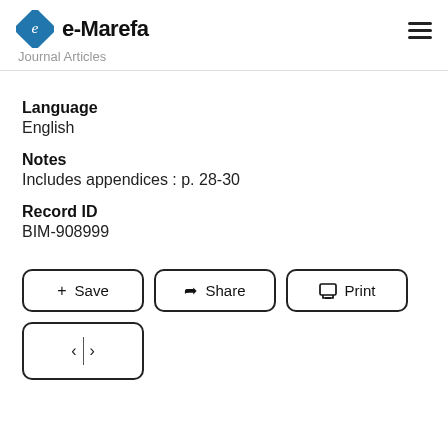e-Marefa Journal Articles
Language
English
Notes
Includes appendices : p. 28-30
Record ID
BIM-908999
[Figure (other): Three action buttons: Save, Share, Print; and a navigation button with left and right arrows]
[Figure (other): Navigation button row with left arrow, vertical separator, and right arrow]